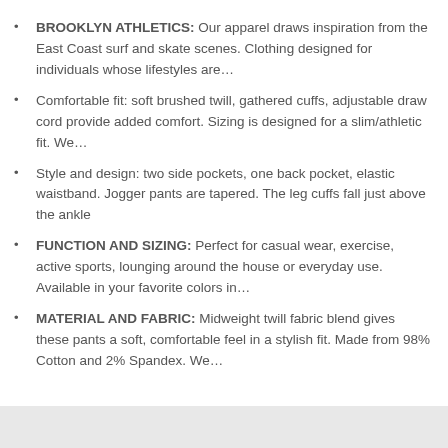BROOKLYN ATHLETICS: Our apparel draws inspiration from the East Coast surf and skate scenes. Clothing designed for individuals whose lifestyles are…
Comfortable fit: soft brushed twill, gathered cuffs, adjustable draw cord provide added comfort. Sizing is designed for a slim/athletic fit. We…
Style and design: two side pockets, one back pocket, elastic waistband. Jogger pants are tapered. The leg cuffs fall just above the ankle
FUNCTION AND SIZING: Perfect for casual wear, exercise, active sports, lounging around the house or everyday use. Available in your favorite colors in…
MATERIAL AND FABRIC: Midweight twill fabric blend gives these pants a soft, comfortable feel in a stylish fit. Made from 98% Cotton and 2% Spandex. We…